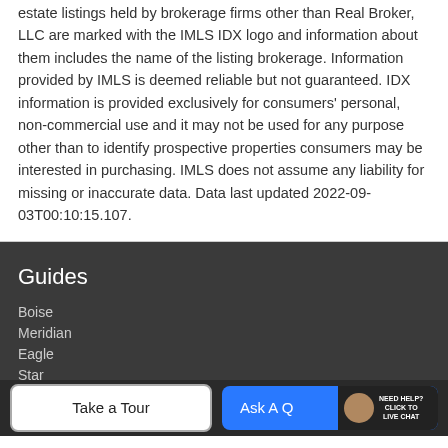estate listings held by brokerage firms other than Real Broker, LLC are marked with the IMLS IDX logo and information about them includes the name of the listing brokerage. Information provided by IMLS is deemed reliable but not guaranteed. IDX information is provided exclusively for consumers' personal, non-commercial use and it may not be used for any purpose other than to identify prospective properties consumers may be interested in purchasing. IMLS does not assume any liability for missing or inaccurate data. Data last updated 2022-09-03T00:10:15.107.
Guides
Boise
Meridian
Eagle
Star
Nampa